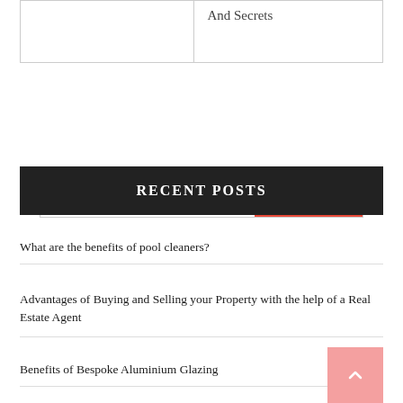|  | And Secrets |
Search ...
RECENT POSTS
What are the benefits of pool cleaners?
Advantages of Buying and Selling your Property with the help of a Real Estate Agent
Benefits of Bespoke Aluminium Glazing